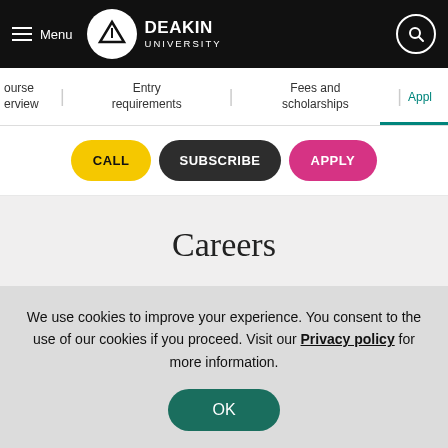Deakin University
ourse erview | Entry requirements | Fees and scholarships | Appl
CALL   SUBSCRIBE   APPLY
Careers
We use cookies to improve your experience. You consent to the use of our cookies if you proceed. Visit our Privacy policy for more information.
OK